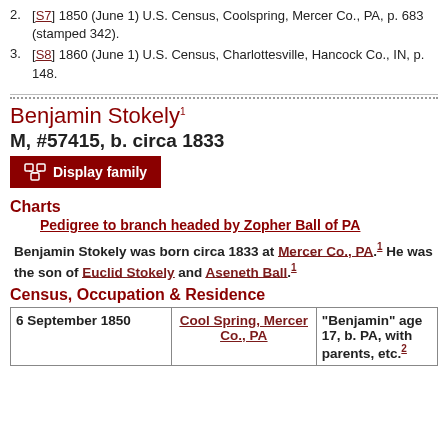2. [S7] 1850 (June 1) U.S. Census, Coolspring, Mercer Co., PA, p. 683 (stamped 342).
3. [S8] 1860 (June 1) U.S. Census, Charlottesville, Hancock Co., IN, p. 148.
Benjamin Stokely¹
M, #57415, b. circa 1833
Display family
Charts
Pedigree to branch headed by Zopher Ball of PA
Benjamin Stokely was born circa 1833 at Mercer Co., PA.¹ He was the son of Euclid Stokely and Aseneth Ball.¹
Census, Occupation & Residence
| Date | Location | Details |
| --- | --- | --- |
| 6 September 1850 | Cool Spring, Mercer Co., PA | "Benjamin" age 17, b. PA, with parents, etc.² |